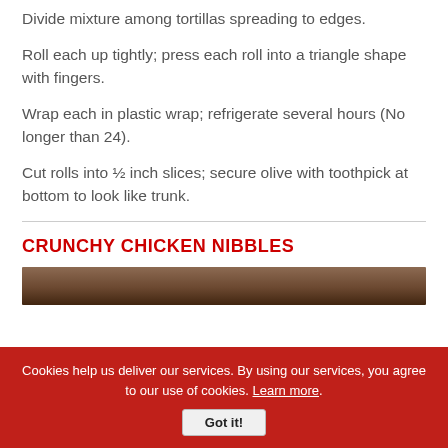Divide mixture among tortillas spreading to edges.
Roll each up tightly; press each roll into a triangle shape with fingers.
Wrap each in plastic wrap; refrigerate several hours (No longer than 24).
Cut rolls into ½ inch slices; secure olive with toothpick at bottom to look like trunk.
CRUNCHY CHICKEN NIBBLES
[Figure (photo): Partial view of a food photograph showing crunchy chicken nibbles dish]
Cookies help us deliver our services. By using our services, you agree to our use of cookies. Learn more. Got it!